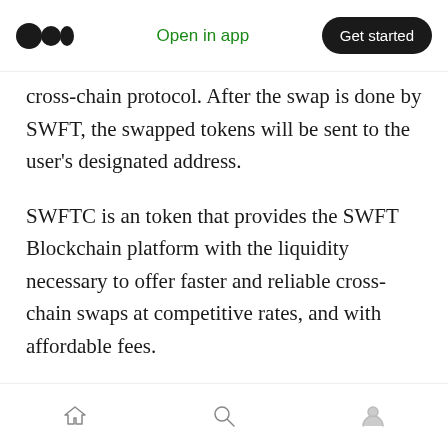Open in app | Get started
cross-chain protocol. After the swap is done by SWFT, the swapped tokens will be sent to the user's designated address.
SWFTC is an token that provides the SWFT Blockchain platform with the liquidity necessary to offer faster and reliable cross-chain swaps at competitive rates, and with affordable fees.
We expect the role, one of the first Business Development/Marketing Manager, to articulate SWFT Blockchains value proposition as a partner to potential clients. While the market moves at a
Home | Search | Profile